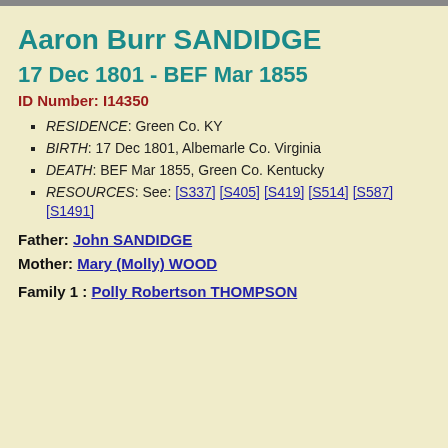Aaron Burr SANDIDGE
17 Dec 1801 - BEF Mar 1855
ID Number: I14350
RESIDENCE: Green Co. KY
BIRTH: 17 Dec 1801, Albemarle Co. Virginia
DEATH: BEF Mar 1855, Green Co. Kentucky
RESOURCES: See: [S337] [S405] [S419] [S514] [S587] [S1491]
Father: John SANDIDGE
Mother: Mary (Molly) WOOD
Family 1 : Polly Robertson THOMPSON